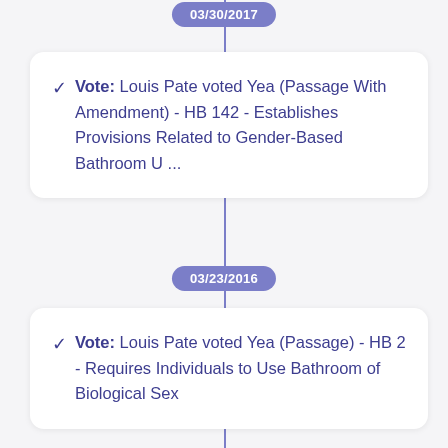03/30/2017
Vote: Louis Pate voted Yea (Passage With Amendment) - HB 142 - Establishes Provisions Related to Gender-Based Bathroom U ...
03/23/2016
Vote: Louis Pate voted Yea (Passage) - HB 2 - Requires Individuals to Use Bathroom of Biological Sex